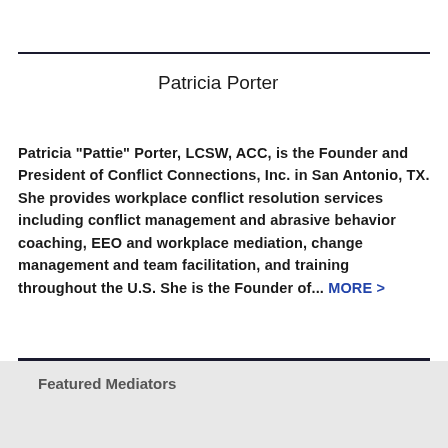Patricia Porter
Patricia "Pattie" Porter, LCSW, ACC, is the Founder and President of Conflict Connections, Inc. in San Antonio, TX. She provides workplace conflict resolution services including conflict management and abrasive behavior coaching, EEO and workplace mediation, change management and team facilitation, and training throughout the U.S. She is the Founder of... MORE >
Featured Mediators